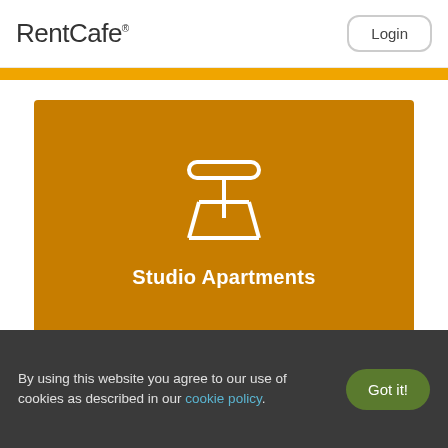RentCafe Login
[Figure (illustration): Orange horizontal bar at top of content area]
[Figure (illustration): Dark orange card with white studio/stool icon and label 'Studio Apartments']
Studio Apartments
[Figure (illustration): Light orange card partially visible at bottom with pet/bone icon]
By using this website you agree to our use of cookies as described in our cookie policy.